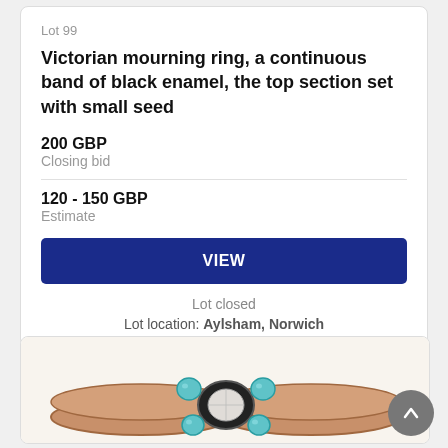Lot 99
Victorian mourning ring, a continuous band of black enamel, the top section set with small seed
200 GBP
Closing bid
120 - 150 GBP
Estimate
VIEW
Lot closed
Lot location: Aylsham, Norwich
[Figure (photo): A ring with turquoise stones and a central diamond/crystal stone on a rose gold band, photographed on white background.]